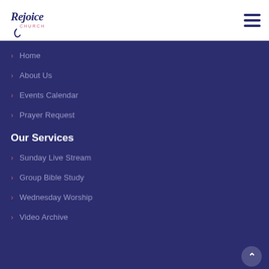[Figure (logo): Rejoice Church logo with cursive text and 'CHURCH' below]
Home
About Us
Events Calendar
Prayer Request
Our Services
Sunday Live Stream
Group Bible Study
Wednesday Worship
Video Archive